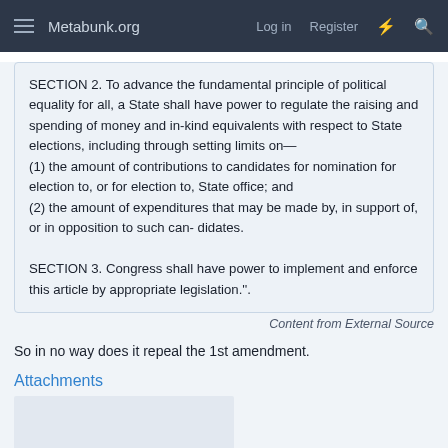Metabunk.org  Log in  Register
SECTION 2. To advance the fundamental principle of political equality for all, a State shall have power to regulate the raising and spending of money and in-kind equivalents with respect to State elections, including through setting limits on—
(1) the amount of contributions to candidates for nomination for election to, or for election to, State office; and
(2) the amount of expenditures that may be made by, in support of, or in opposition to such can- didates.

SECTION 3. Congress shall have power to implement and enforce this article by appropriate legislation.''.
Content from External Source
So in no way does it repeal the 1st amendment.
Attachments
[Figure (photo): Attachment thumbnail placeholder image]